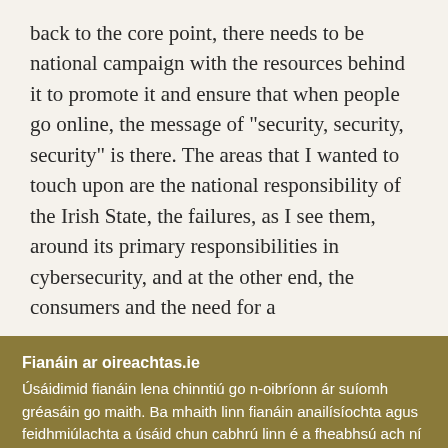back to the core point, there needs to be national campaign with the resources behind it to promote it and ensure that when people go online, the message of "security, security, security" is there. The areas that I wanted to touch upon are the national responsibility of the Irish State, the failures, as I see them, around its primary responsibilities in cybersecurity, and at the other end, the consumers and the need for a
Fianáin ar oireachtas.ie
Úsáidimid fianáin lena chinntiú go n-oibríonn ár suíomh gréasáin go maith. Ba mhaith linn fianáin anailísíochta agus feidhmiúlachta a úsáid chun cabhrú linn é a fheabhsú ach ní mór dúinn cead a fháil uait sin a dhéanamh. Mura bhfuil tú sásta cead a thabhairt, ní úsáidfear ach fianáin riachtanacha. Léigh tuileadh faoinár bhfianáin
Socraigh sainroghanna fianán
Glac leis na fianáin go léir